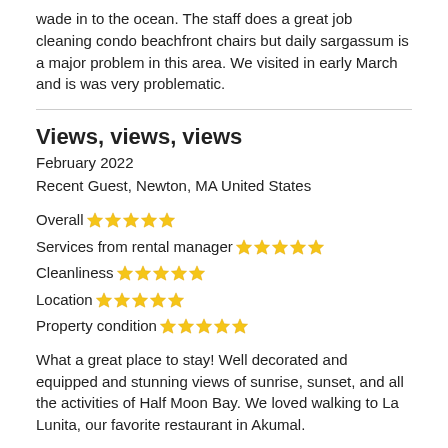wade in to the ocean. The staff does a great job cleaning condo beachfront chairs but daily sargassum is a major problem in this area. We visited in early March and is was very problematic.
Views, views, views
February 2022
Recent Guest, Newton, MA United States
Overall ★★★★★
Services from rental manager ★★★★★
Cleanliness ★★★★★
Location ★★★★★
Property condition ★★★★★
What a great place to stay! Well decorated and equipped and stunning views of sunrise, sunset, and all the activities of Half Moon Bay. We loved walking to La Lunita, our favorite restaurant in Akumal.